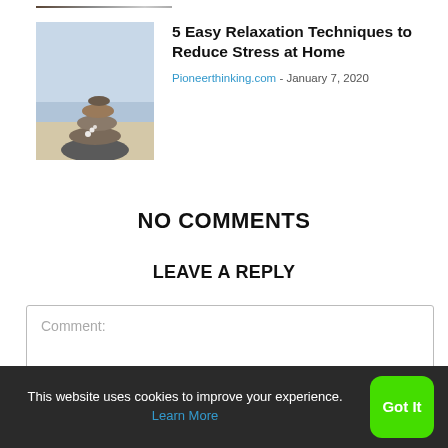[Figure (photo): Cropped bottom edge of a photo (partially visible)]
[Figure (photo): Stacked balancing stones (zen rocks) on a beach, thumbnail image for article]
5 Easy Relaxation Techniques to Reduce Stress at Home
Pioneerthinking.com - January 7, 2020
NO COMMENTS
LEAVE A REPLY
Comment:
This website uses cookies to improve your experience. Learn More